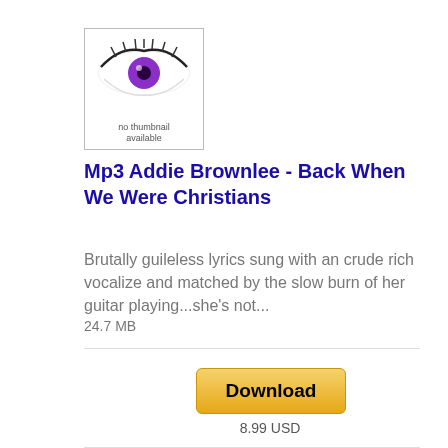[Figure (illustration): Album thumbnail showing a close-up eye with a purple iris on a white background, with 'no thumbnail available' text overlay at the bottom]
Mp3 Addie Brownlee - Back When We Were Christians
Brutally guileless lyrics sung with an crude rich vocalize and matched by the slow burn of her guitar playing...she's not...
24.7 MB
Download
8.99 USD